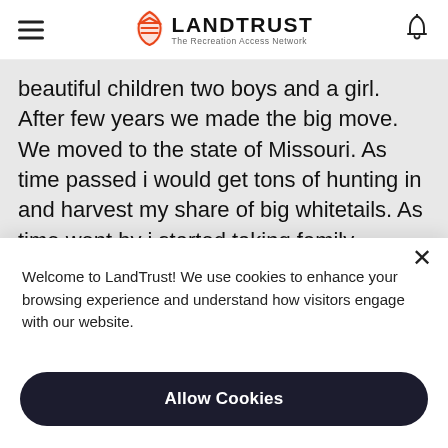LANDTRUST — The Recreation Access Network
beautiful children two boys and a girl. After few years we made the big move. We moved to the state of Missouri. As time passed i would get tons of hunting in and harvest my share of big whitetails. As time went by i started taking family
Welcome to LandTrust! We use cookies to enhance your browsing experience and understand how visitors engage with our website.
Allow Cookies